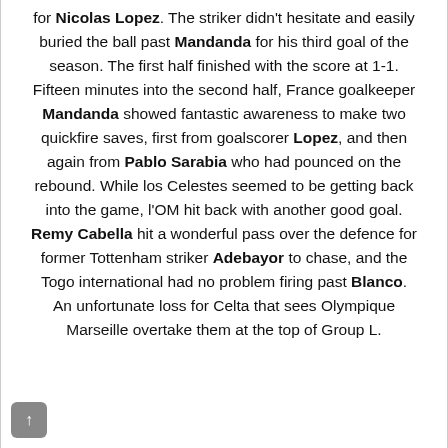for Nicolas Lopez. The striker didn't hesitate and easily buried the ball past Mandanda for his third goal of the season. The first half finished with the score at 1-1. Fifteen minutes into the second half, France goalkeeper Mandanda showed fantastic awareness to make two quickfire saves, first from goalscorer Lopez, and then again from Pablo Sarabia who had pounced on the rebound. While los Celestes seemed to be getting back into the game, l'OM hit back with another good goal. Remy Cabella hit a wonderful pass over the defence for former Tottenham striker Adebayor to chase, and the Togo international had no problem firing past Blanco. An unfortunate loss for Celta that sees Olympique Marseille overtake them at the top of Group L.